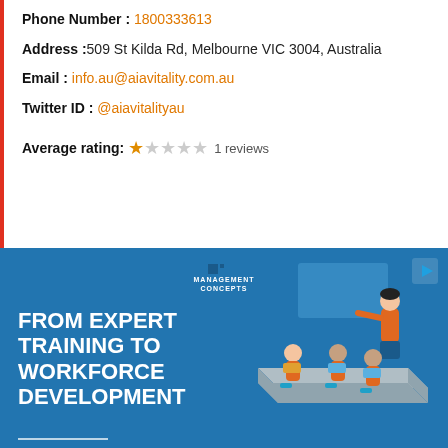Phone Number : 1800333613
Address : 509 St Kilda Rd, Melbourne VIC 3004, Australia
Email : info.au@aiavitality.com.au
Twitter ID : @aiavitalityau
Average rating: 1 star out of 5, 1 reviews
[Figure (illustration): Management Concepts advertisement banner showing office workers in orange shirts at a table with the text FROM EXPERT TRAINING TO WORKFORCE DEVELOPMENT]